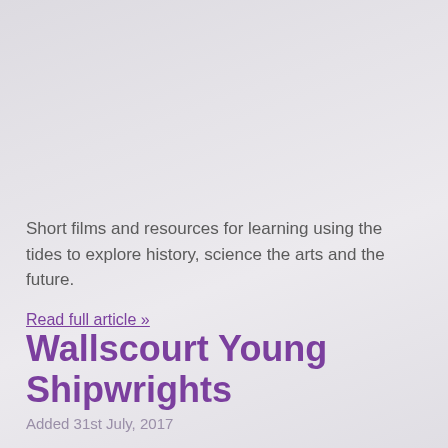Short films and resources for learning using the tides to explore history, science the arts and the future.
Read full article »
Wallscourt Young Shipwrights
Added 31st July, 2017